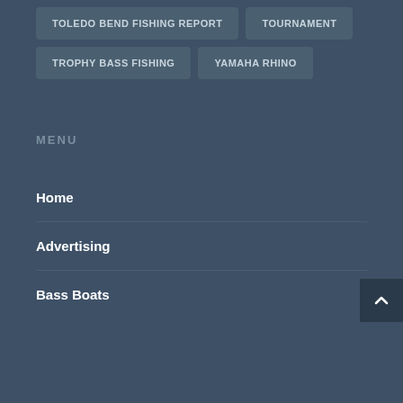TOLEDO BEND FISHING REPORT
TOURNAMENT
TROPHY BASS FISHING
YAMAHA RHINO
MENU
Home
Advertising
Bass Boats